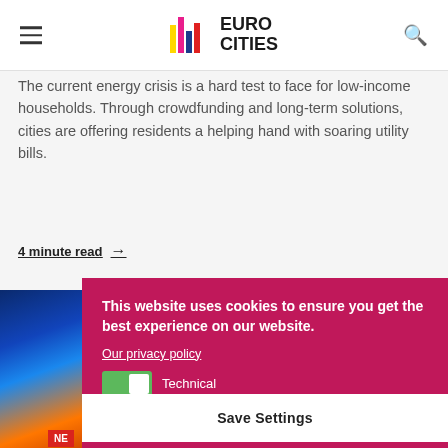EUROCITIES
The current energy crisis is a hard test to face for low-income households. Through crowdfunding and long-term solutions, cities are offering residents a helping hand with soaring utility bills.
4 minute read →
[Figure (photo): Photo of blue gas flame with orange glow — energy/utility theme]
This website uses cookies to ensure you get the best experience on our website.
Our privacy policy
Technical
Save Settings